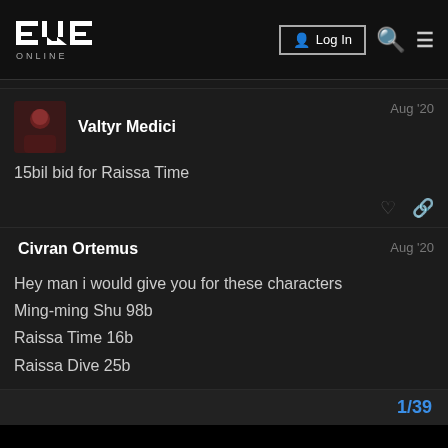EVE ONLINE — Log In
Valtyr Medici — Aug '20
15bil bid for Raissa Time
Civran Ortemus — Aug '20
Hey man i would give you for these characters
Ming-ming Shu 98b
Raissa Time 16b
Raissa Dive 25b
1/39